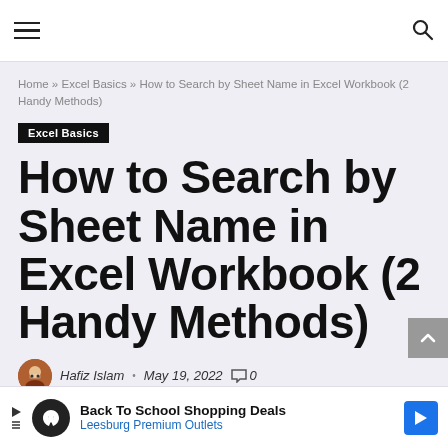Navigation bar with hamburger menu and search icon
Home » Excel Basics » How to Search by Sheet Name in Excel Workbook (2 Handy Methods)
Excel Basics
How to Search by Sheet Name in Excel Workbook (2 Handy Methods)
Hafiz Islam · May 19, 2022 💬 0
Back To School Shopping Deals Leesburg Premium Outlets